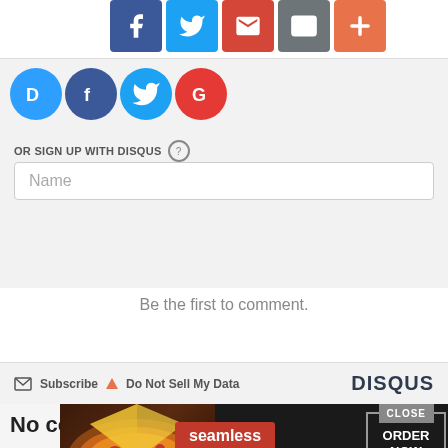[Figure (screenshot): Social share buttons bar: Facebook (blue), Twitter (blue), Gmail (red), Email (grey), Plus/More (orange)]
[Figure (screenshot): Disqus social sign-in icons: Disqus (blue D), Facebook (blue f), Twitter (blue bird), Google (red G)]
OR SIGN UP WITH DISQUS ?
Name
Be the first to comment.
Subscribe  Do Not Sell My Data  DISQUS
No co...
[Figure (screenshot): Seamless food delivery advertisement with pizza image, seamless logo, and ORDER NOW button. CLOSE button visible.]